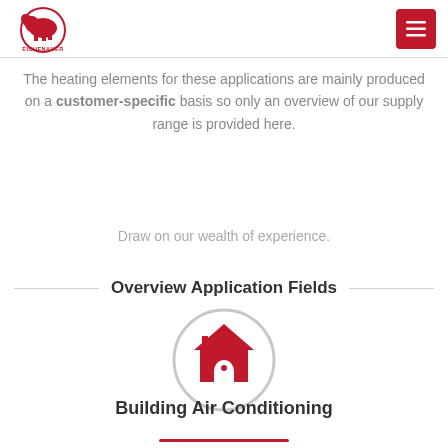Eichenauer logo and menu button
The heating elements for these applications are mainly produced on a customer-specific basis so only an overview of our supply range is provided here.
Draw on our wealth of experience.
Overview Application Fields
[Figure (illustration): Red house icon inside a light gray circle, representing Building Air Conditioning application field]
Building Air Conditioning